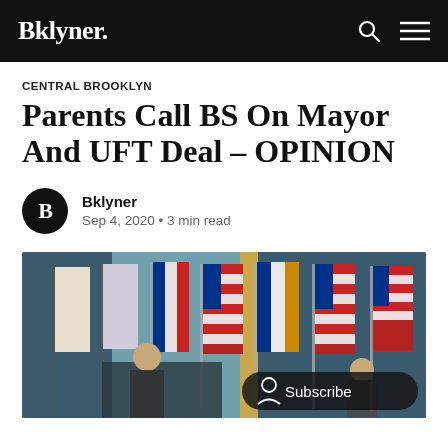Bklyner.
CENTRAL BROOKLYN
Parents Call BS On Mayor And UFT Deal – OPINION
Bklyner
Sep 4, 2020 • 3 min read
[Figure (photo): Press conference scene with American flags and NYC flags in background, two people visible at a podium]